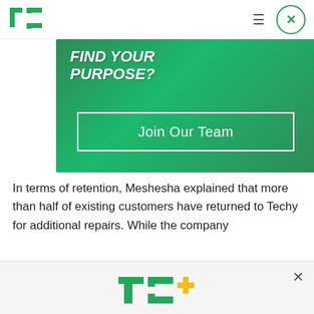TechCrunch navigation header
[Figure (screenshot): Green gradient banner with 'FIND YOUR PURPOSE?' text and 'Join Our Team' button]
In terms of retention, Meshesha explained that more than half of existing customers have returned to Techy for additional repairs. While the company
[Figure (infographic): TechCrunch+ subscription popup: 'Celebrate Labor Day: Subscribe TechCrunch+ Today Only for $90/Year.' with GET OFFER NOW button]